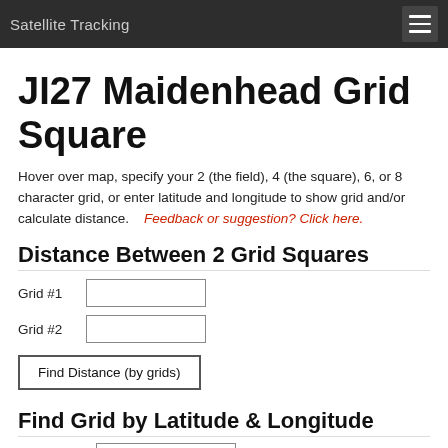Satellite Tracking
JI27 Maidenhead Grid Square
Hover over map, specify your 2 (the field), 4 (the square), 6, or 8 character grid, or enter latitude and longitude to show grid and/or calculate distance.    Feedback or suggestion? Click here.
Distance Between 2 Grid Squares
Grid #1 [input]
Grid #2 [input]
Find Distance (by grids) [button]
Find Grid by Latitude & Longitude
Latitude #1 [input]